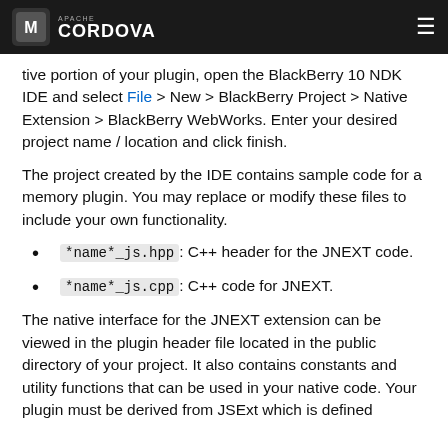Apache Cordova
tive portion of your plugin, open the BlackBerry 10 NDK IDE and select File > New > BlackBerry Project > Native Extension > BlackBerry WebWorks. Enter your desired project name / location and click finish.
The project created by the IDE contains sample code for a memory plugin. You may replace or modify these files to include your own functionality.
*name*_js.hpp: C++ header for the JNEXT code.
*name*_js.cpp: C++ code for JNEXT.
The native interface for the JNEXT extension can be viewed in the plugin header file located in the public directory of your project. It also contains constants and utility functions that can be used in your native code. Your plugin must be derived from JSExt which is defined